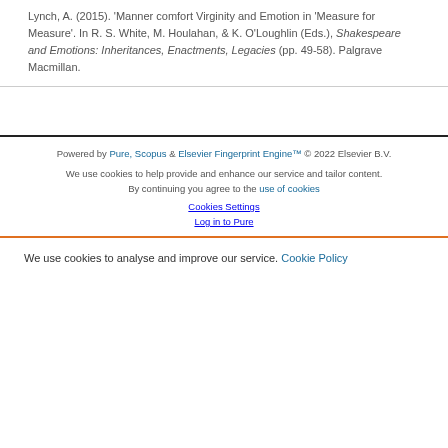Lynch, A. (2015). 'Manner comfort Virginity and Emotion in Measure for Measure'. In R. S. White, M. Houlahan, & K. O'Loughlin (Eds.), Shakespeare and Emotions: Inheritances, Enactments, Legacies (pp. 49-58). Palgrave Macmillan.
Powered by Pure, Scopus & Elsevier Fingerprint Engine™ © 2022 Elsevier B.V.
We use cookies to help provide and enhance our service and tailor content. By continuing you agree to the use of cookies
Cookies Settings
Log in to Pure
We use cookies to analyse and improve our service. Cookie Policy